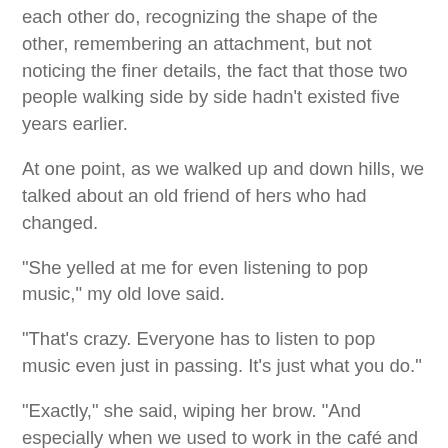each other do, recognizing the shape of the other, remembering an attachment, but not noticing the finer details, the fact that those two people walking side by side hadn't existed five years earlier.
At one point, as we walked up and down hills, we talked about an old friend of hers who had changed.
“She yelled at me for even listening to pop music,” my old love said.
“That’s crazy. Everyone has to listen to pop music even just in passing. It’s just what you do.”
“Exactly,” she said, wiping her brow. “And especially when we used to work in the café and make fun of them together.”
I picked up a walking stick and followed behind her as she walked down the path. She continued to talk about her friend.
“She’ll like only listen to the most indie music, the most